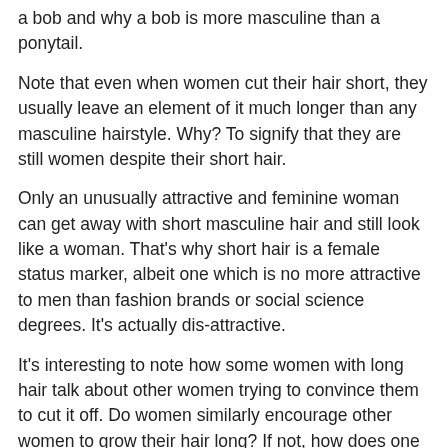a bob and why a bob is more masculine than a ponytail.
Note that even when women cut their hair short, they usually leave an element of it much longer than any masculine hairstyle. Why? To signify that they are still women despite their short hair.
Only an unusually attractive and feminine woman can get away with short masculine hair and still look like a woman. That's why short hair is a female status marker, albeit one which is no more attractive to men than fashion brands or social science degrees. It's actually dis-attractive.
It's interesting to note how some women with long hair talk about other women trying to convince them to cut it off. Do women similarly encourage other women to grow their hair long? If not, how does one account for the dichotomy?
April 6, 2011 at 11:32 AM
Joseph Dantes said...
Let's add a Biblical reason...